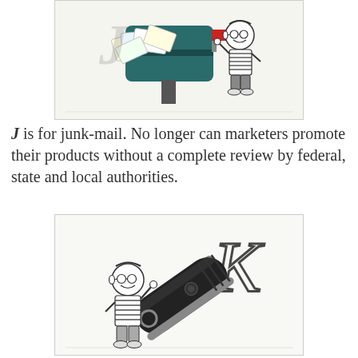[Figure (illustration): Illustration showing a stuffed mailbox overflowing with envelopes and papers, with a cartoon character (boy in striped shirt) waving beside it, and the letter J drawn in handwritten style]
J is for junk-mail. No longer can marketers promote their products without a complete review by federal, state and local authorities.
[Figure (illustration): Illustration showing a black USB flash drive / key fob device, with a cartoon character (boy in striped shirt) waving beside it, and the letter K drawn in handwritten style]